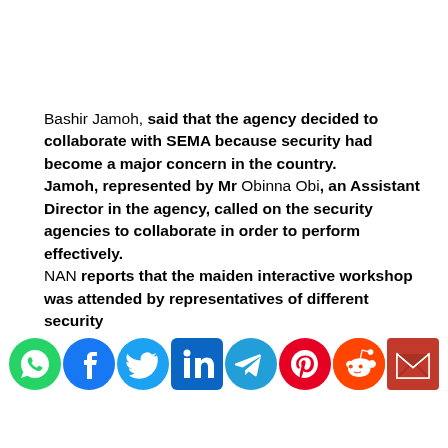Bashir Jamoh, said that the agency decided to collaborate with SEMA because security had become a major concern in the country. Jamoh, represented by Mr Obinna Obi, an Assistant Director in the agency, called on the security agencies to collaborate in order to perform effectively. NAN reports that the maiden interactive workshop was attended by representatives of different security
[Figure (infographic): Row of 8 social media sharing icons: WhatsApp (green), Facebook (dark blue), Twitter (light blue), LinkedIn (blue), Telegram (blue), Pinterest (red), Reddit (orange-red), Email (red)]